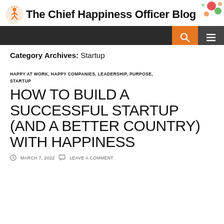The Chief Happiness Officer Blog
Category Archives: Startup
HAPPY AT WORK, HAPPY COMPANIES, LEADERSHIP, PURPOSE, STARTUP
HOW TO BUILD A SUCCESSFUL STARTUP (AND A BETTER COUNTRY) WITH HAPPINESS
MARCH 7, 2022   LEAVE A COMMENT